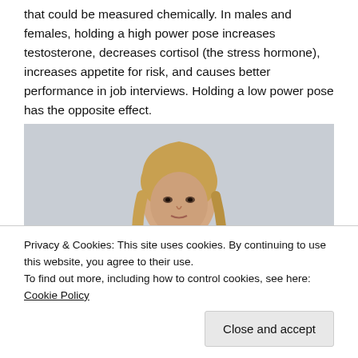that could be measured chemically. In males and females, holding a high power pose increases testosterone, decreases cortisol (the stress hormone), increases appetite for risk, and causes better performance in job interviews. Holding a low power pose has the opposite effect.
[Figure (photo): A blonde woman sitting in a relaxed, expansive pose with arms spread wide across the back of a blue chair, wearing a black jacket, against a light grey wall — demonstrating a high power pose.]
Privacy & Cookies: This site uses cookies. By continuing to use this website, you agree to their use.
To find out more, including how to control cookies, see here: Cookie Policy